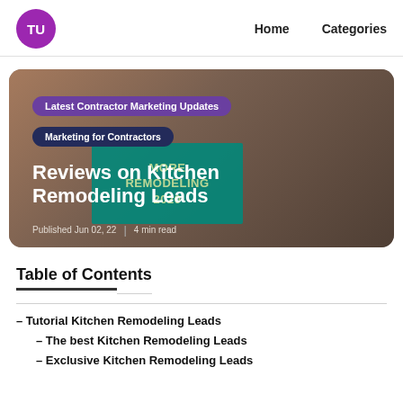TU  Home  Categories
[Figure (photo): Hero banner image showing kitchen remodeling scene with badges and title overlay. Purple badge: 'Latest Contractor Marketing Updates'. Dark blue badge: 'Marketing for Contractors'. Teal box with text: 'MORE REMODELING 2020'. Main title: 'Reviews on Kitchen Remodeling Leads'. Meta: 'Published Jun 02, 22 | 4 min read']
Table of Contents
– Tutorial Kitchen Remodeling Leads
– The best Kitchen Remodeling Leads
– Exclusive Kitchen Remodeling Leads